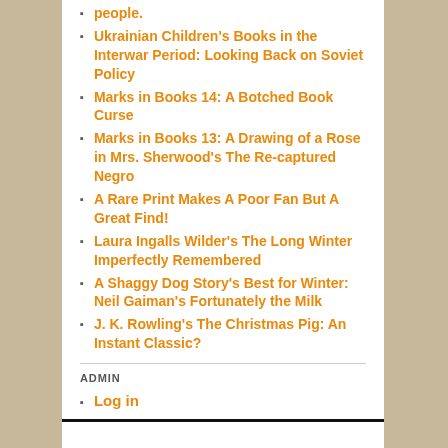people.
Ukrainian Children's Books in the Interwar Period: Looking Back on Soviet Policy
Marks in Books 14: A Botched Book Curse
Marks in Books 13: A Drawing of a Rose in Mrs. Sherwood's The Re-captured Negro
A Rare Print Makes A Poor Fan But A Great Find!
Laura Ingalls Wilder's The Long Winter Imperfectly Remembered
A Shaggy Dog Story's Best for Winter: Neil Gaiman's Fortunately the Milk
J. K. Rowling's The Christmas Pig: An Instant Classic?
ADMIN
Log in